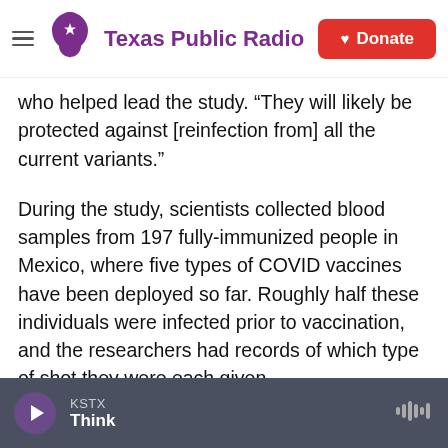Texas Public Radio | Donate
who helped lead the study. "They will likely be protected against [reinfection from] all the current variants."
During the study, scientists collected blood samples from 197 fully-immunized people in Mexico, where five types of COVID vaccines have been deployed so far. Roughly half these individuals were infected prior to vaccination, and the researchers had records of which type of shot they were each given.
Then the team measured how well immune cells and the molecules they produce, in these blood
KSTX Think